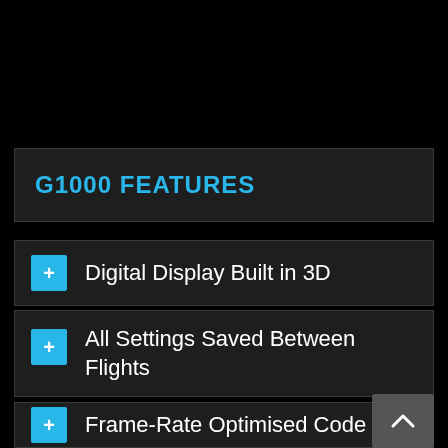G1000 FEATURES
Digital Display Built in 3D
All Settings Saved Between Flights
Frame-Rate Optimised Code